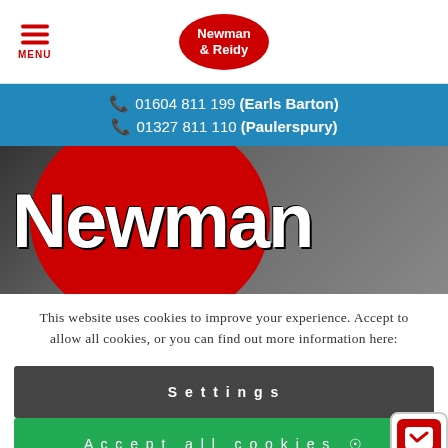Newman & Reidy
📞 01604 811 199 (Earls Barton)
📞 01327 811 110 (Paulerspury)
[Figure (illustration): Hero banner with dark background, red circle, and large white 'Newman' text]
This website uses cookies to improve your experience. Accept to allow all cookies, or you can find out more information here:
Settings
Accept all cookies ✓